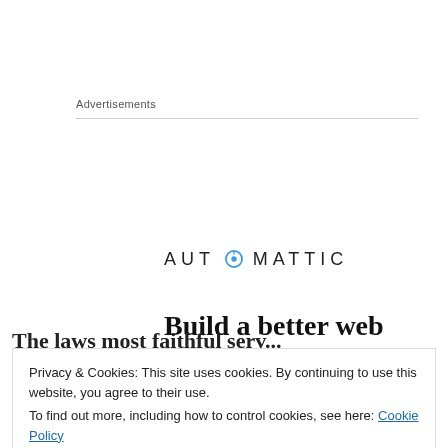Advertisements
[Figure (illustration): Automattic advertisement banner showing logo, headline 'Build a better web and a better world.', a blue button, and a partial photo of a person]
The laws most faithful servants are…
Privacy & Cookies: This site uses cookies. By continuing to use this website, you agree to their use.
To find out more, including how to control cookies, see here: Cookie Policy
intercession on our behalf.